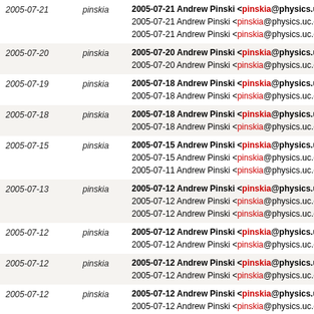| Date | User | Content |
| --- | --- | --- |
| 2005-07-21 | pinskia | 2005-07-21 Andrew Pinski <pinskia@physics.uc.edu> |
| 2005-07-20 | pinskia | 2005-07-20 Andrew Pinski <pinskia@physics.uc.edu> |
| 2005-07-19 | pinskia | 2005-07-18 Andrew Pinski <pinskia@physics.uc.edu> |
| 2005-07-18 | pinskia | 2005-07-18 Andrew Pinski <pinskia@physics.uc.edu> |
| 2005-07-15 | pinskia | 2005-07-15 Andrew Pinski <pinskia@physics.uc.edu> |
| 2005-07-13 | pinskia | 2005-07-12 Andrew Pinski <pinskia@physics.uc.edu> |
| 2005-07-12 | pinskia | 2005-07-12 Andrew Pinski <pinskia@physics.uc.edu> |
| 2005-07-12 | pinskia | 2005-07-12 Andrew Pinski <pinskia@physics.uc.edu> |
| 2005-07-12 | pinskia | 2005-07-12 Andrew Pinski <pinskia@physics.uc.edu> |
| 2005-07-09 | pinskia | 2005-07-09 Andrew Pinski <pinskia@physics.uc.edu> |
| 2005-07-09 | pinskia | 2005-07-09 Andrew Pinski <pinskia@physics.uc.edu> |
| 2005-07-09 | pinskia | 2005-07-09 Andrew Pinski <pinskia@physics.uc.edu> |